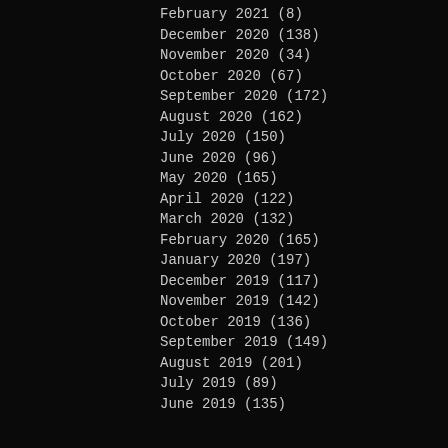February 2021 (8)
December 2020 (138)
November 2020 (34)
October 2020 (67)
September 2020 (172)
August 2020 (162)
July 2020 (150)
June 2020 (96)
May 2020 (165)
April 2020 (122)
March 2020 (132)
February 2020 (165)
January 2020 (197)
December 2019 (117)
November 2019 (142)
October 2019 (136)
September 2019 (149)
August 2019 (201)
July 2019 (89)
June 2019 (135)